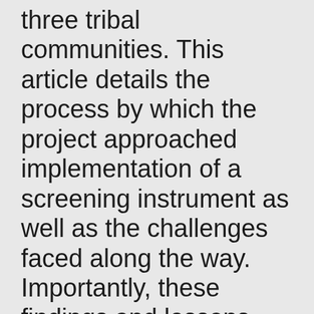three tribal communities. This article details the process by which the project approached implementation of a screening instrument as well as the challenges faced along the way. Importantly, these findings and lessons learned include commentary from BIA